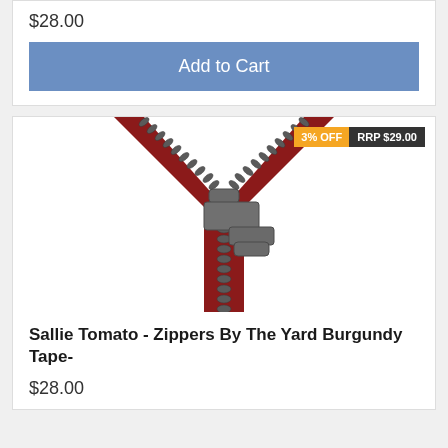$28.00
Add to Cart
[Figure (photo): Close-up photo of a burgundy/red zipper by the yard with gunmetal teeth and slider, open at the top. Badges overlay the top-right: '3% OFF' in yellow/orange and 'RRP $29.00' in dark grey.]
Sallie Tomato - Zippers By The Yard Burgundy Tape-
$28.00